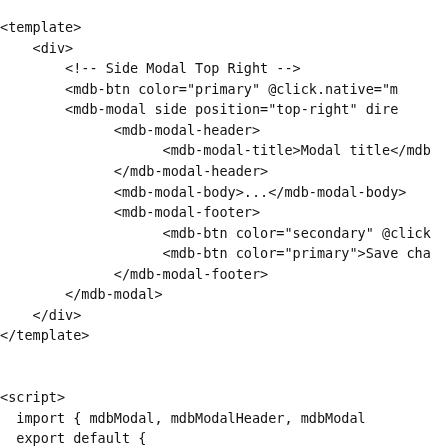<template>
    <div>
        <!-- Side Modal Top Right -->
        <mdb-btn color="primary" @click.native="m
        <mdb-modal side position="top-right" dire
              <mdb-modal-header>
                    <mdb-modal-title>Modal title</mdb
              </mdb-modal-header>
              <mdb-modal-body>...</mdb-modal-body>
              <mdb-modal-footer>
                    <mdb-btn color="secondary" @click
                    <mdb-btn color="primary">Save cha
              </mdb-modal-footer>
        </mdb-modal>
    </div>
</template>


<script>
  import { mdbModal, mdbModalHeader, mdbModal
  export default {
    components: {
      mdbModal,
      mdbModalHeader,
      mdbModalTitle,
      mdbModalBody,
      mdbModalFooter,
      mdbBtn,